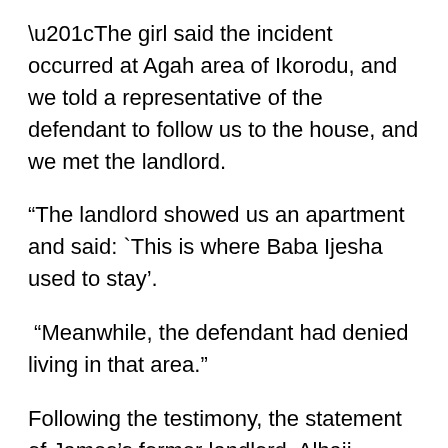“The girl said the incident occurred at Agah area of Ikorodu, and we told a representative of the defendant to follow us to the house, and we met the landlord.
“The landlord showed us an apartment and said: `This is where Baba Ijesha used to stay’.
“Meanwhile, the defendant had denied living in that area.”
Following the testimony, the statement of James’s former landlord, Alhaji Jameel, and his statement at the SCID was admitted in evidence.